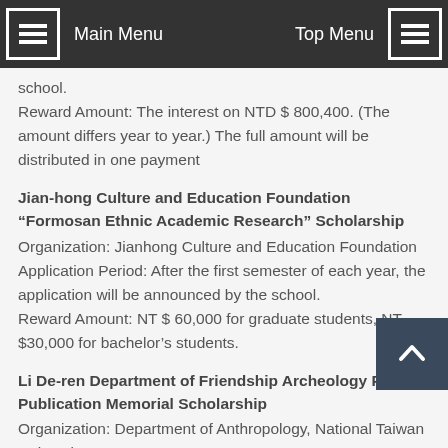Main Menu | Top Menu
school. Reward Amount: The interest on NTD $ 800,400. (The amount differs year to year.) The full amount will be distributed in one payment
Jian-hong Culture and Education Foundation “Formosan Ethnic Academic Research” Scholarship
Organization: Jianhong Culture and Education Foundation Application Period: After the first semester of each year, the application will be announced by the school. Reward Amount: NT $ 60,000 for graduate students, NT $30,000 for bachelor’s students.
Li De-ren Department of Friendship Archeology Paper Publication Memorial Scholarship
Organization: Department of Anthropology, National Taiwan University Application Period: Twice a year. The first time: from May 1